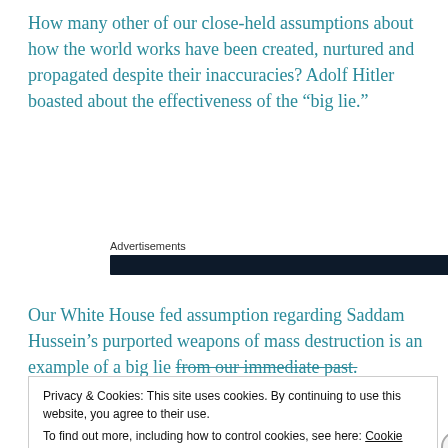How many other of our close-held assumptions about how the world works have been created, nurtured and propagated despite their inaccuracies? Adolf Hitler boasted about the effectiveness of the “big lie.”
Advertisements
Our White House fed assumption regarding Saddam Hussein’s purported weapons of mass destruction is an example of a big lie from our immediate past.
Privacy & Cookies: This site uses cookies. By continuing to use this website, you agree to their use.
To find out more, including how to control cookies, see here: Cookie Policy
Close and accept